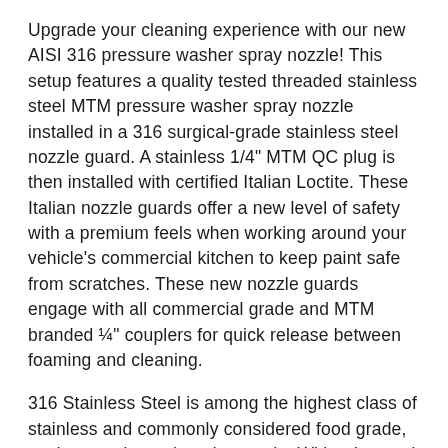Upgrade your cleaning experience with our new AISI 316 pressure washer spray nozzle! This setup features a quality tested threaded stainless steel MTM pressure washer spray nozzle installed in a 316 surgical-grade stainless steel nozzle guard. A stainless 1/4" MTM QC plug is then installed with certified Italian Loctite. These Italian nozzle guards offer a new level of safety with a premium feels when working around your vehicle's commercial kitchen to keep paint safe from scratches. These new nozzle guards engage with all commercial grade and MTM branded ¼" couplers for quick release between foaming and cleaning.
316 Stainless Steel is among the highest class of stainless and commonly considered food grade, nuclear grade, and marine grade. With advanced corrosive properties, these Italian nozzle guards will be the last QC nozzle you purchase!